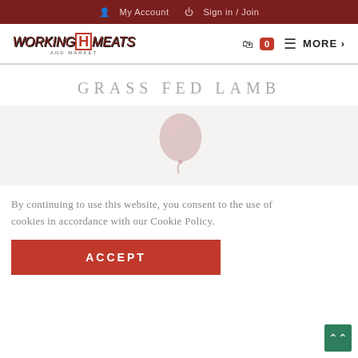My Account  Sign in / Join
[Figure (logo): Working H Meats and Market logo with red stylized text]
GRASS FED LAMB
[Figure (illustration): A pinkish-tan balloon icon representing empty product category]
By continuing to use this website, you consent to the use of cookies in accordance with our Cookie Policy.
ACCEPT